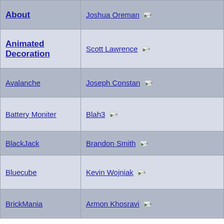| Project | Author |
| --- | --- |
| About | Joshua Oreman -> |
| Animated Decoration | Scott Lawrence -> |
| Avalanche | Joseph Constan -> |
| Battery Moniter | Blah3 -> |
| BlackJack | Brandon Smith -> |
| Bluecube | Kevin Wojniak -> |
| BrickMania | Armon Khosravi -> |